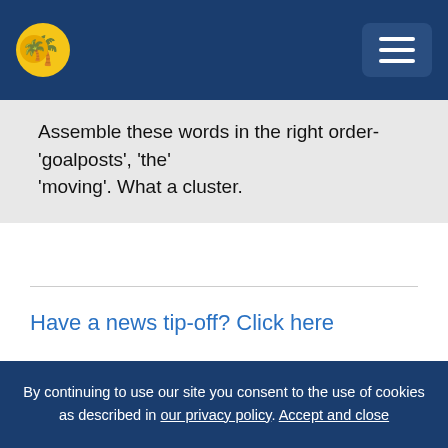Logo and navigation menu
Assemble these words in the right order- 'goalposts', 'the' 'moving'. What a cluster.
Have a news tip-off? Click here
Related stories
By continuing to use our site you consent to the use of cookies as described in our privacy policy. Accept and close